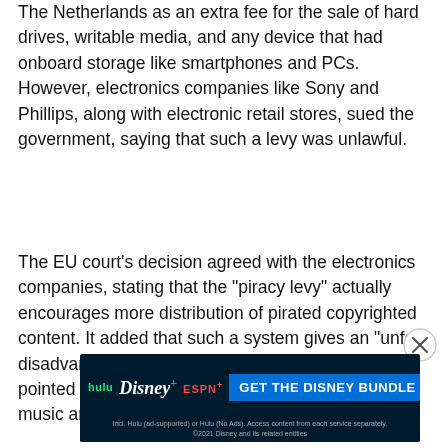The Netherlands as an extra fee for the sale of hard drives, writable media, and any device that had onboard storage like smartphones and PCs. However, electronics companies like Sony and Phillips, along with electronic retail stores, sued the government, saying that such a levy was unlawful.
The EU court's decision agreed with the electronics companies, stating that the "piracy levy" actually encourages more distribution of pirated copyrighted content. It added that such a system gives an "unfair disadvantage to the copyright holders." It also pointed out that people in the Netherlands who buy music and
[Figure (other): Disney Bundle advertisement banner showing Hulu, Disney+, ESPN+ logos with a blue 'GET THE DISNEY BUNDLE' call-to-action button. Footer text reads: Incl. Hulu (ad-supported) or Hulu (No Ads). Access content from each service separately. ©2021 Disney and its related entities]